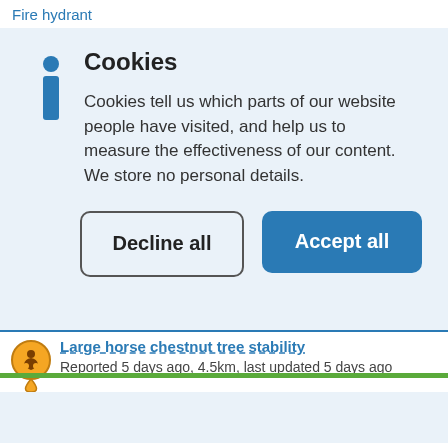Fire hydrant
Cookies
Cookies tell us which parts of our website people have visited, and help us to measure the effectiveness of our content. We store no personal details.
Decline all
Accept all
Large horse chestnut tree stability
Reported 5 days ago, 4.5km, last updated 5 days ago